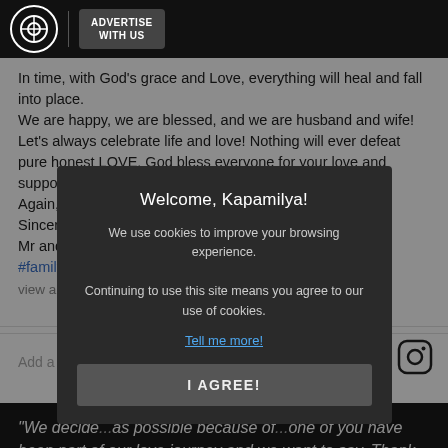ADVERTISE WITH US
In time, with God's grace and Love, everything will heal and fall into place.
We are happy, we are blessed, and we are husband and wife!
Let's always celebrate life and love! Nothing will ever defeat pure honest LOVE. God bless everyone for your love and support!
Again, from the deepest part of our hearts thank you!
Sincerely,
Mr and Mrs. Guidicelli
#family #BLESSED #HappywifeHappyLife #G022020
view all 47,8...
Add a comm...
[Figure (screenshot): Cookie consent modal overlay with title 'Welcome, Kapamilya!', body text about cookies, 'Tell me more!' link, and 'I AGREE!' button]
"We decide...as possible because of...one of you have been part of our love journey and we want to say, Thank you. Friends, family and everyone on 'social media' have been a source of inspiration, strength, and...